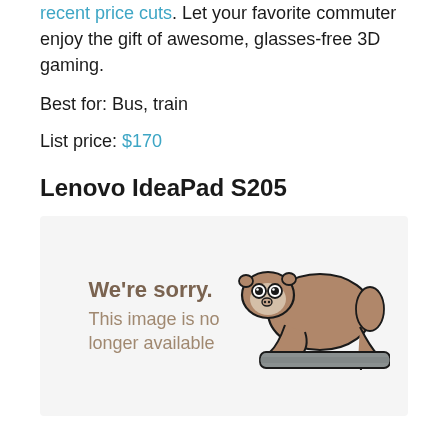recent price cuts. Let your favorite commuter enjoy the gift of awesome, glasses-free 3D gaming.
Best for: Bus, train
List price: $170
Lenovo IdeaPad S205
[Figure (photo): Placeholder image with sloth illustration and text: We're sorry. This image is no longer available]